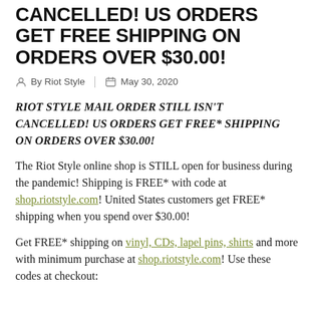CANCELLED! US ORDERS GET FREE SHIPPING ON ORDERS OVER $30.00!
By Riot Style   May 30, 2020
RIOT STYLE MAIL ORDER STILL ISN'T CANCELLED! US ORDERS GET FREE* SHIPPING ON ORDERS OVER $30.00!
The Riot Style online shop is STILL open for business during the pandemic! Shipping is FREE* with code at shop.riotstyle.com! United States customers get FREE* shipping when you spend over $30.00!
Get FREE* shipping on vinyl, CDs, lapel pins, shirts and more with minimum purchase at shop.riotstyle.com! Use these codes at checkout: